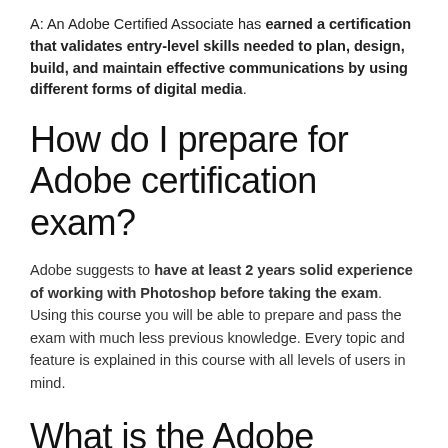A: An Adobe Certified Associate has earned a certification that validates entry-level skills needed to plan, design, build, and maintain effective communications by using different forms of digital media.
How do I prepare for Adobe certification exam?
Adobe suggests to have at least 2 years solid experience of working with Photoshop before taking the exam. Using this course you will be able to prepare and pass the exam with much less previous knowledge. Every topic and feature is explained in this course with all levels of users in mind.
What is the Adobe certification test?